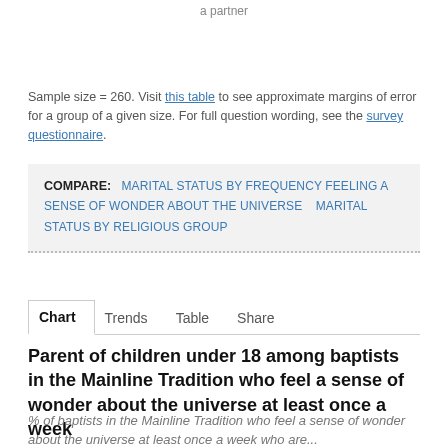a partner
Sample size = 260. Visit this table to see approximate margins of error for a group of a given size. For full question wording, see the survey questionnaire.
COMPARE: MARITAL STATUS BY FREQUENCY FEELING A SENSE OF WONDER ABOUT THE UNIVERSE   MARITAL STATUS BY RELIGIOUS GROUP
Chart   Trends   Table   Share
Parent of children under 18 among baptists in the Mainline Tradition who feel a sense of wonder about the universe at least once a week
% of baptists in the Mainline Tradition who feel a sense of wonder about the universe at least once a week who are...